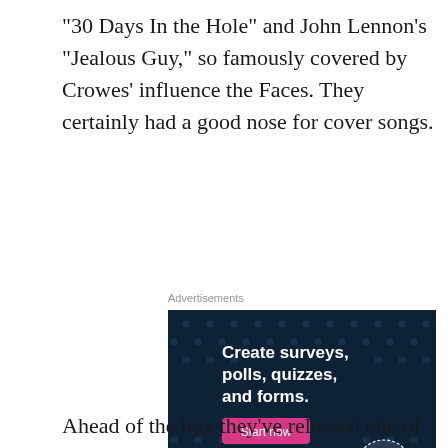“30 Days In the Hole” and John Lennon’s “Jealous Guy,” so famously covered by Crowes’ influence the Faces. They certainly had a good nose for cover songs.
Advertisements
[Figure (screenshot): Advertisement banner for CrowdSignal (WordPress) showing dark navy background with white bold text: 'Create surveys, polls, quizzes, and forms.' with a pink 'Start now' button, WordPress logo bottom-left, CrowdSignal logo circle bottom-right]
REPORT THIS AD
Ahead of the box they’ve released one of those vault